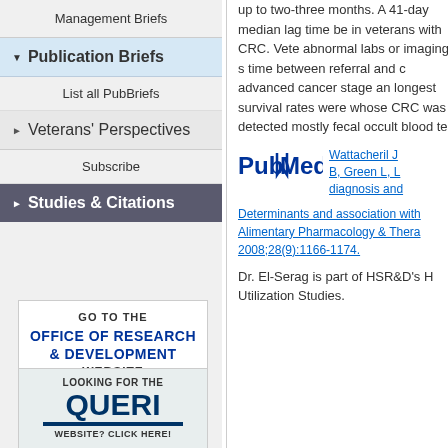Management Briefs
▼ Publication Briefs
List all PubBriefs
▶ Veterans' Perspectives
Subscribe
▶ Studies & Citations
[Figure (other): GO TO THE OFFICE OF RESEARCH & DEVELOPMENT WEBSITE promotional box]
[Figure (other): LOOKING FOR THE QUERI WEBSITE? CLICK HERE! promotional box]
up to two-three months. A 41-day median lag time be... in veterans with CRC. Vete... abnormal labs or imaging s... time between referral and c... advanced cancer stage an... longest survival rates were... whose CRC was detected ... mostly fecal occult blood te...
Wattacheril J... B, Green L, L... diagnosis and...
Determinants and association with... Alimentary Pharmacology & Thera... 2008;28(9):1166-1174.
Dr. El-Serag is part of HSR&D's H... Utilization Studies.